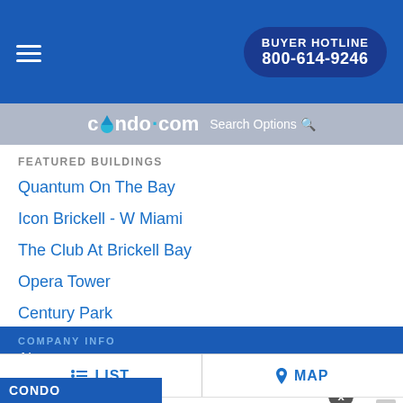BUYER HOTLINE 800-614-9246
[Figure (logo): condo.com logo with water drop]
Search Options
FEATURED BUILDINGS
Quantum On The Bay
Icon Brickell - W Miami
The Club At Brickell Bay
Opera Tower
Century Park
COMPANY INFO
About
Legal
LIST   MAP
[Figure (infographic): Newrez advertisement: Get pre-approved to buy your forever home. CALL NOW. Newrez LLC NMLS#: 3013]
CONDO